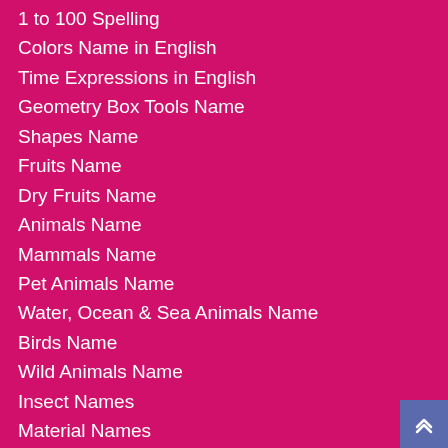1 to 100 Spelling
Colors Name in English
Time Expressions in English
Geometry Box Tools Name
Shapes Name
Fruits Name
Dry Fruits Name
Animals Name
Mammals Name
Pet Animals Name
Water, Ocean & Sea Animals Name
Birds Name
Wild Animals Name
Insect Names
Material Names
Daily Routines
Zodiac Sign Name in English